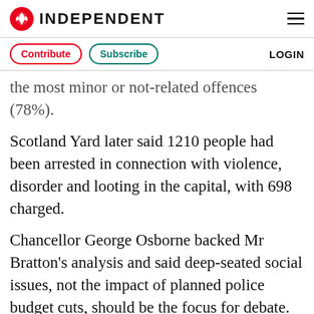INDEPENDENT
Contribute   Subscribe   LOGIN
the most minor or not-related offences (78%).
Scotland Yard later said 1210 people had been arrested in connection with violence, disorder and looting in the capital, with 698 charged.
Chancellor George Osborne backed Mr Bratton's analysis and said deep-seated social issues, not the impact of planned police budget cuts, should be the focus for debate.
"We are committed to the plan we have set out for police reform. And it is about reform, abou